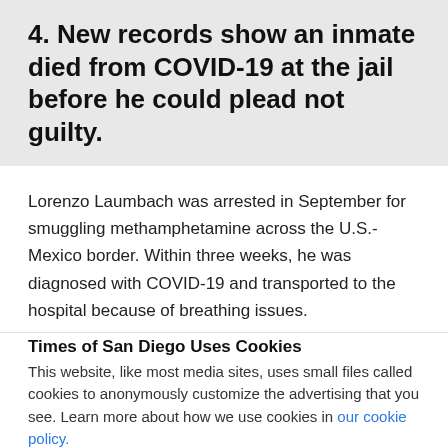4. New records show an inmate died from COVID-19 at the jail before he could plead not guilty.
Lorenzo Laumbach was arrested in September for smuggling methamphetamine across the U.S.-Mexico border. Within three weeks, he was diagnosed with COVID-19 and transported to the hospital because of breathing issues.
Times of San Diego Uses Cookies
This website, like most media sites, uses small files called cookies to anonymously customize the advertising that you see. Learn more about how we use cookies in our cookie policy.